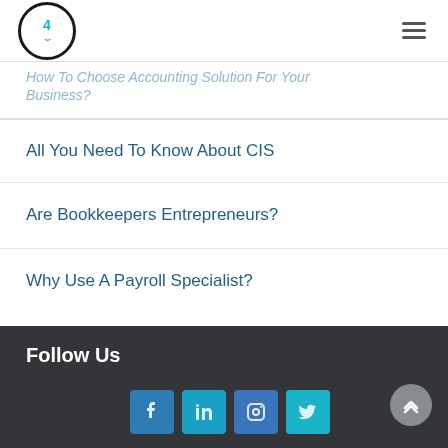4 [logo with smile]
How To Choose Accounting Solution For Your Business?
All You Need To Know About CIS
Are Bookkeepers Entrepreneurs?
Why Use A Payroll Specialist?
Follow Us [Facebook, LinkedIn, Instagram, Twitter icons]